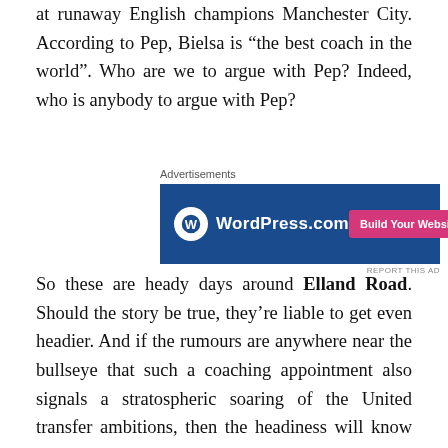at runaway English champions Manchester City. According to Pep, Bielsa is “the best coach in the world”. Who are we to argue with Pep? Indeed, who is anybody to argue with Pep?
[Figure (other): WordPress.com advertisement banner with blue background and pink 'Build Your Website' button]
So these are heady days around Elland Road. Should the story be true, they’re liable to get even headier. And if the rumours are anywhere near the bullseye that such a coaching appointment also signals a stratospheric soaring of the United transfer ambitions, then the headiness will know no bounds. It’s safe to say that, in these circumstances, we’d be heading into next season on a high.